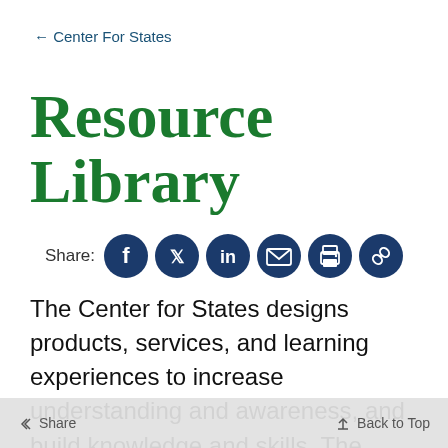← Center For States
Resource Library
[Figure (infographic): Share icons row: Share label followed by Facebook, Twitter, LinkedIn, Email, Print, and Link circular dark navy icon buttons]
The Center for States designs products, services, and learning experiences to increase understanding and awareness, and build knowledge and skills. The
Share   Back to Top